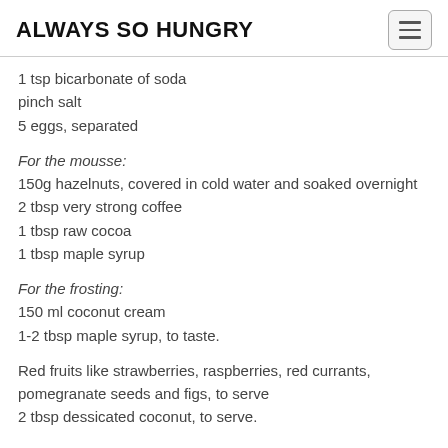ALWAYS SO HUNGRY
1 tsp bicarbonate of soda
pinch salt
5 eggs, separated
For the mousse:
150g hazelnuts, covered in cold water and soaked overnight
2 tbsp very strong coffee
1 tbsp raw cocoa
1 tbsp maple syrup
For the frosting:
150 ml coconut cream
1-2 tbsp maple syrup, to taste.
Red fruits like strawberries, raspberries, red currants, pomegranate seeds and figs, to serve
2 tbsp dessicated coconut, to serve.